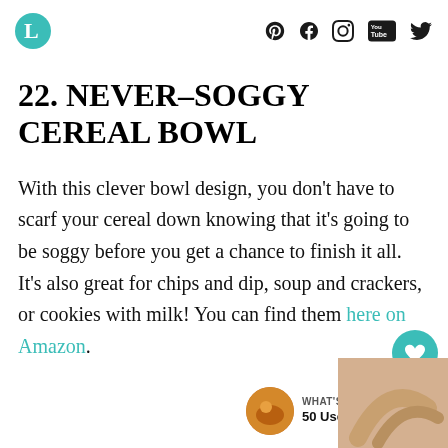L [logo] — social icons: Pinterest, Facebook, Instagram, YouTube, Twitter
22. NEVER–SOGGY CEREAL BOWL
With this clever bowl design, you don't have to scarf your cereal down knowing that it's going to be soggy before you get a chance to finish it all. It's also great for chips and dip, soup and crackers, or cookies with milk! You can find them here on Amazon.
[Figure (photo): Thumbnail image of a bowl/kitchen item, used in 'What's Next' widget]